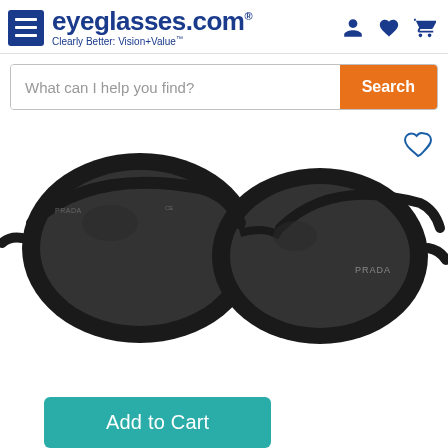eyeglasses.com — Clearly Better: Vision+Value
What can I help you find?
[Figure (photo): Black Prada cat-eye sunglasses with dark grey lenses, shown from a front-angle view on a white background. A heart (wishlist) icon is visible in the top right.]
Color: BLACK
Add to Cart
[Figure (photo): Partial bottom view of a second pair of sunglasses with grey/striped temples.]